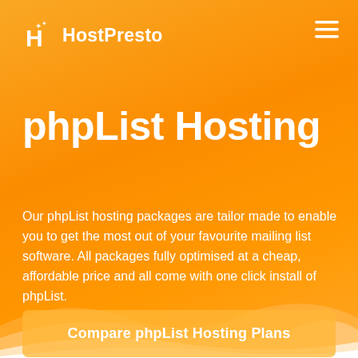HostPresto
phpList Hosting
Our phpList hosting packages are tailor made to enable you to get the most out of your favourite mailing list software. All packages fully optimised at a cheap, affordable price and all come with one click install of phpList.
Compare phpList Hosting Plans